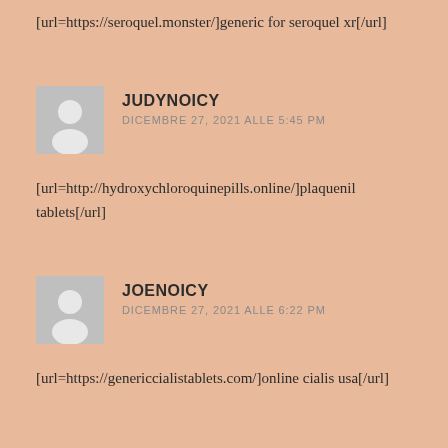[url=https://seroquel.monster/]generic for seroquel xr[/url]
JUDYNOICY
DICEMBRE 27, 2021 ALLE 5:45 PM
[url=http://hydroxychloroquinepills.online/]plaquenil tablets[/url]
JOENOICY
DICEMBRE 27, 2021 ALLE 6:22 PM
[url=https://genericcialistablets.com/]online cialis usa[/url]